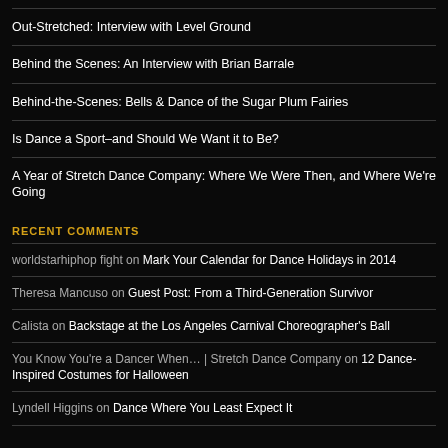Out-Stretched: Interview with Level Ground
Behind the Scenes: An Interview with Brian Barrale
Behind-the-Scenes: Bells & Dance of the Sugar Plum Fairies
Is Dance a Sport–and Should We Want it to Be?
A Year of Stretch Dance Company: Where We Were Then, and Where We're Going
RECENT COMMENTS
worldstarhiphop fight on Mark Your Calendar for Dance Holidays in 2014
Theresa Mancuso on Guest Post: From a Third-Generation Survivor
Calista on Backstage at the Los Angeles Carnival Choreographer's Ball
You Know You're a Dancer When… | Stretch Dance Company on 12 Dance-Inspired Costumes for Halloween
Lyndell Higgins on Dance Where You Least Expect It